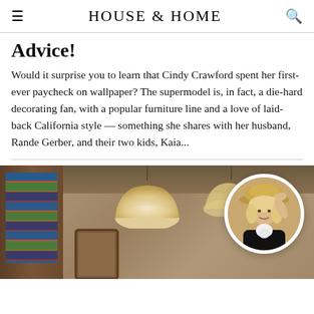HOUSE & HOME
Advice!
Would it surprise you to learn that Cindy Crawford spent her first-ever paycheck on wallpaper? The supermodel is, in fact, a die-hard decorating fan, with a popular furniture line and a love of laid-back California style — something she shares with her husband, Rande Gerber, and their two kids, Kaia...
[Figure (photo): Interior room with wooden bookshelves on the left, hanging pendant lamp in the center, textured walls and ceiling with exposed beams, and a circular portrait inset of a woman wearing a wide-brim hat and black jacket with white collar.]